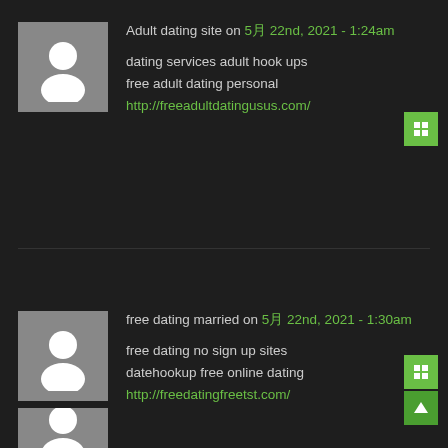[Figure (illustration): Gray placeholder avatar with white person silhouette icon, first comment]
Adult dating site on 5月 22nd, 2021 - 1:24am

dating services adult hook ups
free adult dating personal
http://freeadultdatingusus.com/
[Figure (illustration): Green square button with grid/delete icon, top right of first comment]
[Figure (illustration): Gray placeholder avatar with white person silhouette icon, second comment]
free dating married on 5月 22nd, 2021 - 1:30am

free dating no sign up sites
datehookup free online dating
http://freedatingfreetst.com/
[Figure (illustration): Green square buttons with grid icon and up-arrow icon, bottom right of second comment]
[Figure (illustration): Gray placeholder avatar with white person silhouette icon, third comment (partially visible at bottom)]